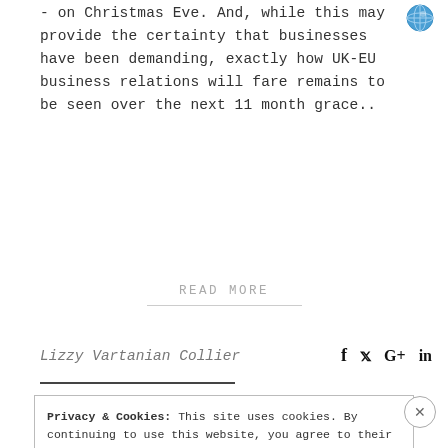- on Christmas Eve. And, while this may provide the certainty that businesses have been demanding, exactly how UK-EU business relations will fare remains to be seen over the next 11 month grace..
READ MORE
Lizzy Vartanian Collier
Privacy & Cookies: This site uses cookies. By continuing to use this website, you agree to their use.
To find out more, including how to control cookies, see here: Cookie Policy
Close and accept